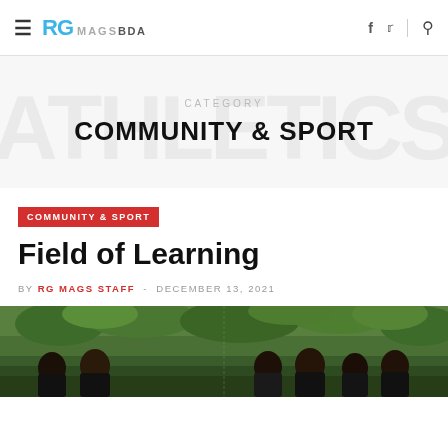RG MAGSBDA — navigation header with hamburger menu, logo, social icons (f, twitter), and search
CATEGORY — COMMUNITY & SPORT
COMMUNITY & SPORT
Field of Learning
BY RG MAGS STAFF - DECEMBER 13, 2021
[Figure (photo): Group photo of several men outdoors with green trees/foliage in background]